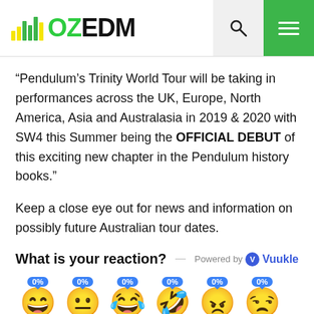[Figure (logo): OZEDM website logo with colorful bar chart icon and green OZ text followed by black EDM text, plus search and hamburger menu icons]
“Pendulum’s Trinity World Tour will be taking in performances across the UK, Europe, North America, Asia and Australasia in 2019 & 2020 with SW4 this Summer being the OFFICIAL DEBUT of this exciting new chapter in the Pendulum history books.”
Keep a close eye out for news and information on possibly future Australian tour dates.
What is your reaction?
[Figure (infographic): Row of six emoji reaction faces each with a 0% badge: happy, neutral, surprised/laughing, angry, sad/disgusted expressions]